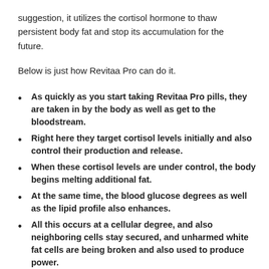suggestion, it utilizes the cortisol hormone to thaw persistent body fat and stop its accumulation for the future.
Below is just how Revitaa Pro can do it.
As quickly as you start taking Revitaa Pro pills, they are taken in by the body as well as get to the bloodstream.
Right here they target cortisol levels initially and also control their production and release.
When these cortisol levels are under control, the body begins melting additional fat.
At the same time, the blood glucose degrees as well as the lipid profile also enhances.
All this occurs at a cellular degree, and also neighboring cells stay secured, and unharmed white fat cells are being broken and also used to produce power.